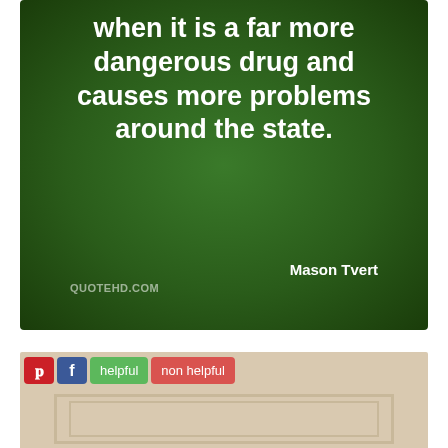[Figure (illustration): Green gradient background quote image with bold white text reading 'when it is a far more dangerous drug and causes more problems around the state.' attributed to Mason Tvert, with QUOTEHD.COM watermark]
when it is a far more dangerous drug and causes more problems around the state.
Mason Tvert
QUOTEHD.COM
[Figure (photo): Bottom section showing social sharing buttons (Pinterest, Facebook, helpful, non helpful) above a beige/cream colored door panel image]